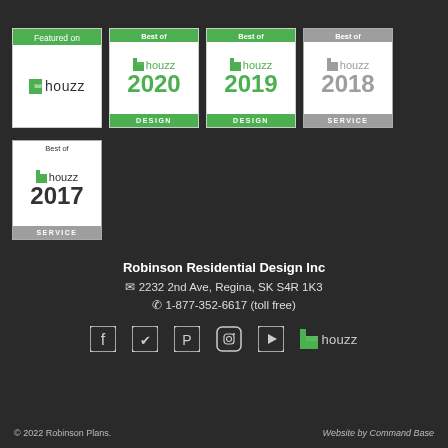[Figure (logo): Houzz 'Featured on' badge (green top bar, white background with houzz logo)]
[Figure (logo): Best of Houzz 2020 Design badge (green accents)]
[Figure (logo): Best of Houzz 2019 Design badge (green accents)]
[Figure (logo): Best of Houzz 2018 Service badge (gray accents)]
[Figure (logo): Best of Houzz 2017 Service badge (gray accents)]
Robinson Residential Design Inc
✉ 2232 2nd Ave, Regina, SK S4R 1K3
✆ 1-877-352-6617 (toll free)
[Figure (infographic): Social media icons row: Facebook, Twitter, Pinterest, Instagram, YouTube, Houzz]
© 2022 Robinson Plans.   Website by Command Base